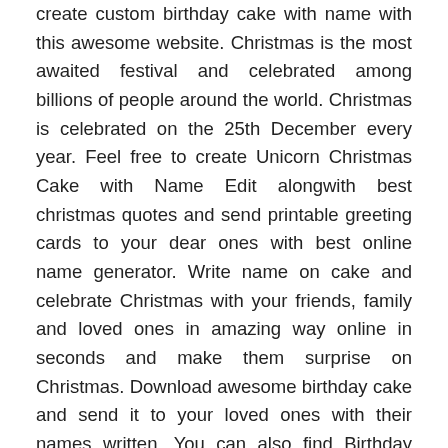create custom birthday cake with name with this awesome website. Christmas is the most awaited festival and celebrated among billions of people around the world. Christmas is celebrated on the 25th December every year. Feel free to create Unicorn Christmas Cake with Name Edit alongwith best christmas quotes and send printable greeting cards to your dear ones with best online name generator. Write name on cake and celebrate Christmas with your friends, family and loved ones in amazing way online in seconds and make them surprise on Christmas. Download awesome birthday cake and send it to your loved ones with their names written. You can also find Birthday Wishes For Sister on this website. Celebrate wedding, love, marriage, Anniversaries of loved one with this simple cake! Write your names on unique Rapunzel Name Birthday Cake images! in quick time Now you can celebrate birthdays of your loved ones by writing name on this beautiful butterfly birthday cake! You can also wish birthday to your strong boys and kids with this kungfu style